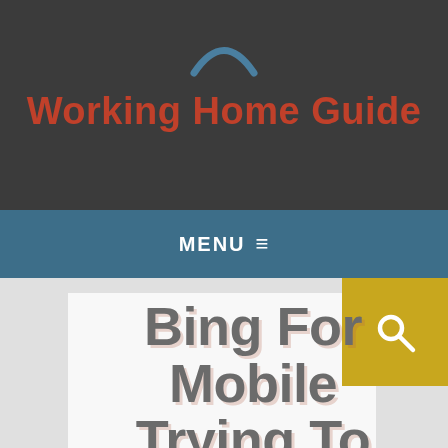Working Home Guide
MENU ☰
Bing For Mobile Trying To Expand With New Features